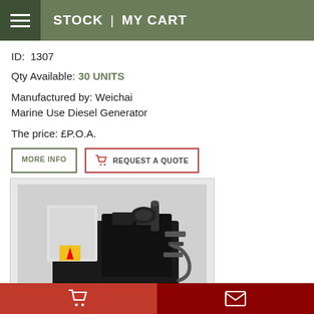STOCK | MY CART
ID: 1307
Qty Available: 30 UNITS
Manufactured by: Weichai Marine Use Diesel Generator
The price: £P.O.A.
MORE INFO | REQUEST A QUOTE
[Figure (photo): Photo of a Weichai Marine Use Diesel Generator, black engine unit with components visible]
Cart icon | Envelope icon